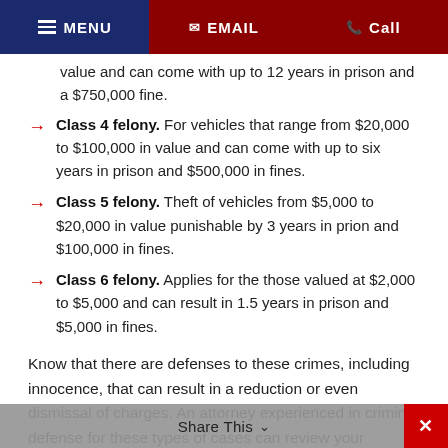MENU  EMAIL  Call
value and can come with up to 12 years in prison and a $750,000 fine.
Class 4 felony. For vehicles that range from $20,000 to $100,000 in value and can come with up to six years in prison and $500,000 in fines.
Class 5 felony. Theft of vehicles from $5,000 to $20,000 in value punishable by 3 years in prion and $100,000 in fines.
Class 6 felony. Applies for the those valued at $2,000 to $5,000 and can result in 1.5 years in prison and $5,000 in fines.
Know that there are defenses to these crimes, including innocence, that can result in a reduction or even dismissal of charges. An attorney experienced in criminal defense for these types of cases can review your situation, discuss you